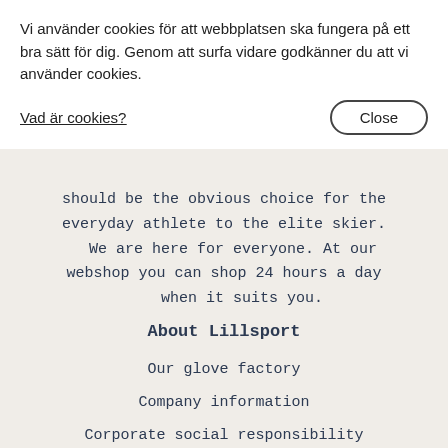Vi använder cookies för att webbplatsen ska fungera på ett bra sätt för dig. Genom att surfa vidare godkänner du att vi använder cookies.
Vad är cookies?
Close
should be the obvious choice for the everyday athlete to the elite skier. We are here for everyone. At our webshop you can shop 24 hours a day when it suits you.
About Lillsport
Our glove factory
Company information
Corporate social responsibility